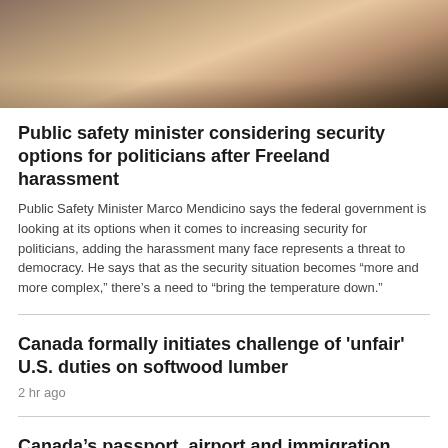[Figure (photo): Close-up photo of a person with light brown/auburn hair wearing a light pink or white top, photographed against a dark background]
Public safety minister considering security options for politicians after Freeland harassment
Public Safety Minister Marco Mendicino says the federal government is looking at its options when it comes to increasing security for politicians, adding the harassment many face represents a threat to democracy. He says that as the security situation becomes “more and more complex,” there’s a need to “bring the temperature down.”
Canada formally initiates challenge of 'unfair' U.S. duties on softwood lumber
2 hr ago
Canada’s passport, airport and immigration